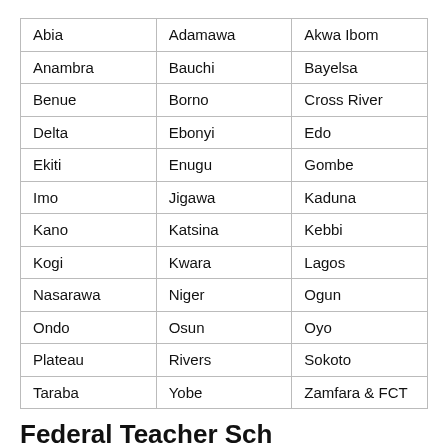| Abia | Adamawa | Akwa Ibom |
| Anambra | Bauchi | Bayelsa |
| Benue | Borno | Cross River |
| Delta | Ebonyi | Edo |
| Ekiti | Enugu | Gombe |
| Imo | Jigawa | Kaduna |
| Kano | Katsina | Kebbi |
| Kogi | Kwara | Lagos |
| Nasarawa | Niger | Ogun |
| Ondo | Osun | Oyo |
| Plateau | Rivers | Sokoto |
| Taraba | Yobe | Zamfara & FCT |
Federal Teacher Sch...